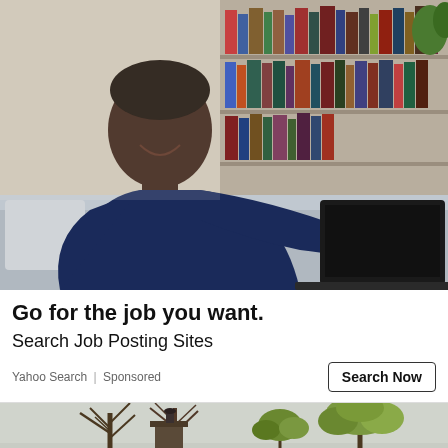[Figure (photo): Man sitting on a grey couch using a laptop, smiling, with bookshelves in the background]
Go for the job you want.
Search Job Posting Sites
Yahoo Search | Sponsored
[Figure (photo): Rooftop with chimney and bare/leafy trees in the background against a light sky]